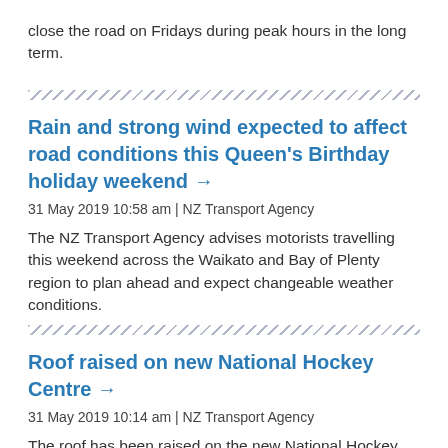close the road on Fridays during peak hours in the long term.
Rain and strong wind expected to affect road conditions this Queen's Birthday holiday weekend →
31 May 2019 10:58 am | NZ Transport Agency
The NZ Transport Agency advises motorists travelling this weekend across the Waikato and Bay of Plenty region to plan ahead and expect changeable weather conditions.
Roof raised on new National Hockey Centre →
31 May 2019 10:14 am | NZ Transport Agency
The roof has been raised on the new National Hockey Centre marking the half way point in the construction of the world class facility at Rosedale on Auckland's North Shore.